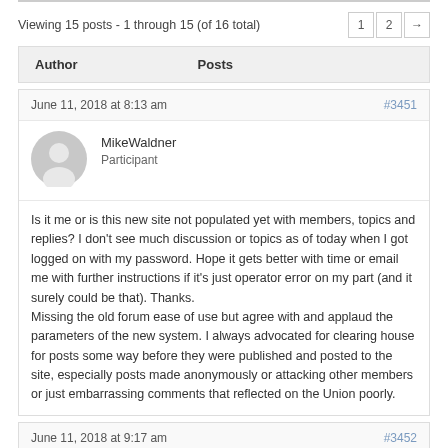Viewing 15 posts - 1 through 15 (of 16 total)
June 11, 2018 at 8:13 am
#3451
MikeWaldner
Participant
Is it me or is this new site not populated yet with members, topics and replies? I don't see much discussion or topics as of today when I got logged on with my password. Hope it gets better with time or email me with further instructions if it's just operator error on my part (and it surely could be that). Thanks.
Missing the old forum ease of use but agree with and applaud the parameters of the new system. I always advocated for clearing house for posts some way before they were published and posted to the site, especially posts made anonymously or attacking other members or just embarrassing comments that reflected on the Union poorly.
June 11, 2018 at 9:17 am
#3452